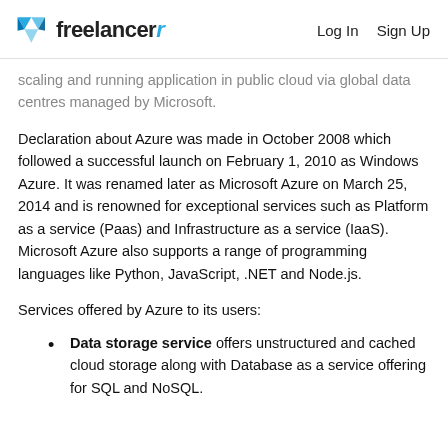freelancer   Log In   Sign Up
scaling and running application in public cloud via global data centres managed by Microsoft.
Declaration about Azure was made in October 2008 which followed a successful launch on February 1, 2010 as Windows Azure. It was renamed later as Microsoft Azure on March 25, 2014 and is renowned for exceptional services such as Platform as a service (Paas) and Infrastructure as a service (IaaS). Microsoft Azure also supports a range of programming languages like Python, JavaScript, .NET and Node.js.
Services offered by Azure to its users:
Data storage service offers unstructured and cached cloud storage along with Database as a service offering for SQL and NoSQL.